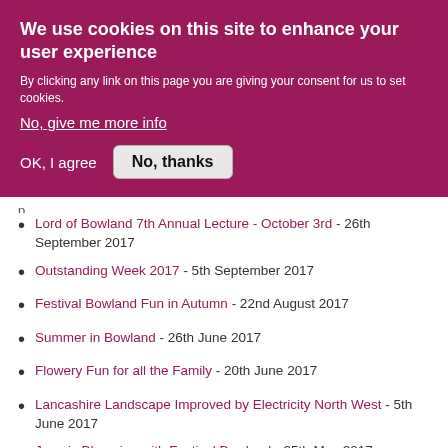We use cookies on this site to enhance your user experience
By clicking any link on this page you are giving your consent for us to set cookies.
No, give me more info
OK, I agree   No, thanks
Lord of Bowland 7th Annual Lecture - October 3rd - 26th September 2017
Outstanding Week 2017 - 5th September 2017
Festival Bowland Fun in Autumn - 22nd August 2017
Summer in Bowland - 26th June 2017
Flowery Fun for all the Family - 20th June 2017
Lancashire Landscape Improved by Electricity North West - 5th June 2017
June is Blooming with Festival Bowland - 25th May 2017
The Gruffalo brought to life in Gisburn Forest with new augmented reality app - 2nd May 2017